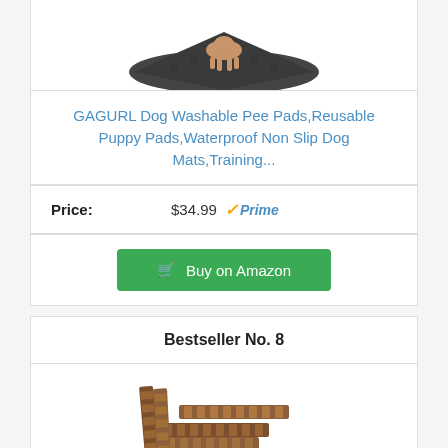[Figure (photo): Product photo of a dark grey dog mat/pee pad with a dog standing on it, viewed from above at an angle, partially cropped at top of page]
GAGURL Dog Washable Pee Pads,Reusable Puppy Pads,Waterproof Non Slip Dog Mats,Training...
Price: $34.99 ✓Prime
Buy on Amazon
Bestseller No. 8
[Figure (photo): Product photo of interlocking wooden deck tiles stacked/fanned out, brown wood color, partially cropped at bottom of page]